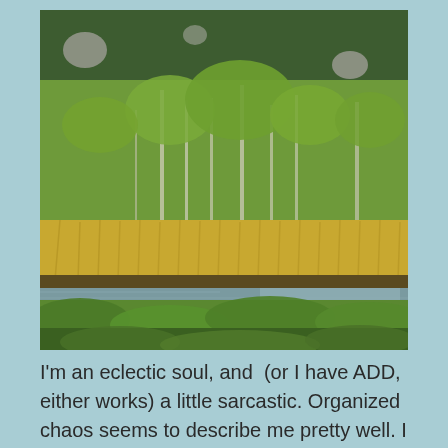[Figure (photo): Outdoor nature photo showing a wetland or marsh scene with a small stream or pond in the foreground, surrounded by tall golden-brown reeds and grasses, with a dense mixed forest of green deciduous and coniferous trees in the background.]
I'm an eclectic soul, and  (or I have ADD, either works) a little sarcastic. Organized chaos seems to describe me pretty well. I love meeting new people, good thing, since